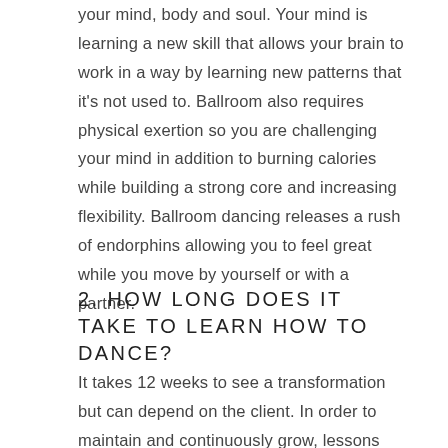your mind, body and soul. Your mind is learning a new skill that allows your brain to work in a way by learning new patterns that it's not used to. Ballroom also requires physical exertion so you are challenging your mind in addition to burning calories while building a strong core and increasing flexibility. Ballroom dancing releases a rush of endorphins allowing you to feel great while you move by yourself or with a partner.
2. HOW LONG DOES IT TAKE TO LEARN HOW TO DANCE?
It takes 12 weeks to see a transformation but can depend on the client. In order to maintain and continuously grow, lessons should be done